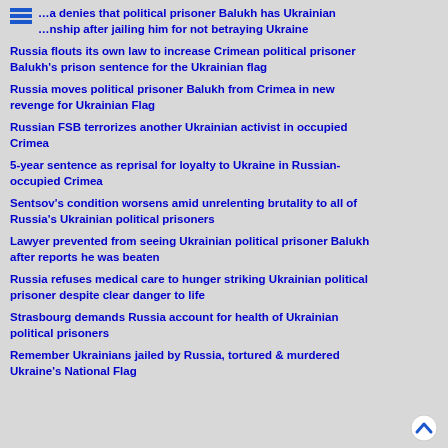…a denies that political prisoner Balukh has Ukrainian …nship after jailing him for not betraying Ukraine
Russia flouts its own law to increase Crimean political prisoner Balukh's prison sentence for the Ukrainian flag
Russia moves political prisoner Balukh from Crimea in new revenge for Ukrainian Flag
Russian FSB terrorizes another Ukrainian activist in occupied Crimea
5-year sentence as reprisal for loyalty to Ukraine in Russian-occupied Crimea
Sentsov's condition worsens amid unrelenting brutality to all of Russia's Ukrainian political prisoners
Lawyer prevented from seeing Ukrainian political prisoner Balukh after reports he was beaten
Russia refuses medical care to hunger striking Ukrainian political prisoner despite clear danger to life
Strasbourg demands Russia account for health of Ukrainian political prisoners
Remember Ukrainians jailed by Russia, tortured & murdered Ukraine's National Flag